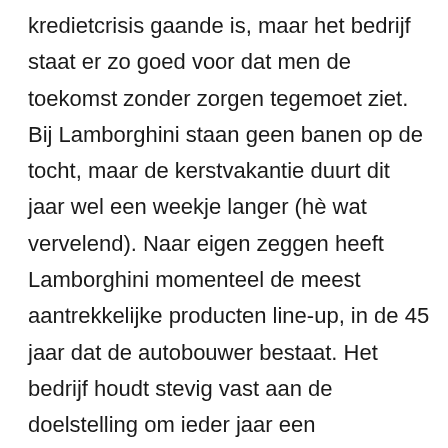kredietcrisis gaande is, maar het bedrijf staat er zo goed voor dat men de toekomst zonder zorgen tegemoet ziet. Bij Lamborghini staan geen banen op de tocht, maar de kerstvakantie duurt dit jaar wel een weekje langer (hè wat vervelend). Naar eigen zeggen heeft Lamborghini momenteel de meest aantrekkelijke producten line-up, in de 45 jaar dat de autobouwer bestaat. Het bedrijf houdt stevig vast aan de doelstelling om ieder jaar een (ver)nieuw(d) model te presenteren. Er zal dan ook geen euro worden bezuinigd op investeringen in research & development. Op de